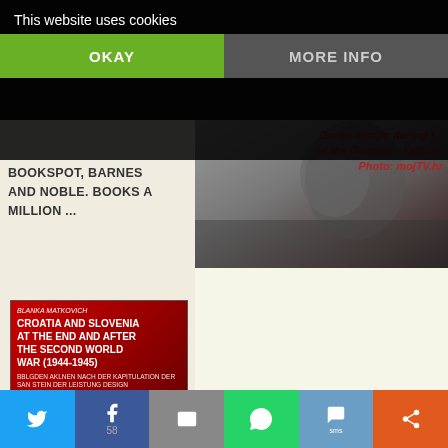[Figure (screenshot): Website cookie consent banner overlay on a news/blog article page about Goran Visnjic and General Ante Gotovina, ICTY war crimes trial. Left sidebar shows book links. Right side shows article text and photo caption. Bottom has social sharing bar.]
This website uses cookies
OKAY
MORE INFO
BOOKSPOT, BARNES AND NOBLE. BOOKS A MILLION ...
[Figure (photo): Book cover: Croatia and Slovenia at the End and After the Second World War (1944-1945) by Blanka Matkovich, with red background]
Goran Visnjic during f... of the General – Febru... Photo: mojTV.hr
The International Criminal Tribunal for th... (ICTY) indicted General Ante Gotovina in... war crimes allegedly committed during a... military operation 'Storm' in August 1995...
He was arrested on the Canary Islands in... transferred to The Hague to stand trial a... sentenced to 24 years by the Hague Trial...
LIVING CELLS – JULIENNE EDEN BUSIC
[Figure (screenshot): Social media sharing bar at bottom with Twitter, Facebook (58 shares), email, WhatsApp, SMS, and other sharing buttons]